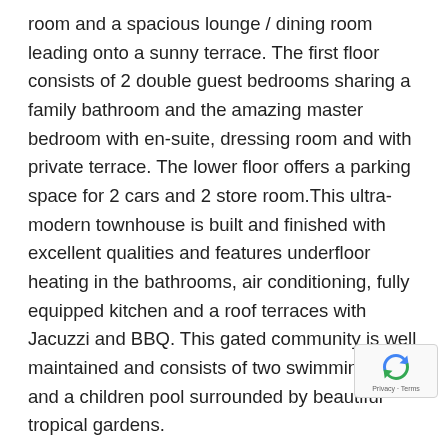room and a spacious lounge / dining room leading onto a sunny terrace. The first floor consists of 2 double guest bedrooms sharing a family bathroom and the amazing master bedroom with en-suite, dressing room and with private terrace. The lower floor offers a parking space for 2 cars and 2 store room.This ultra-modern townhouse is built and finished with excellent qualities and features underfloor heating in the bathrooms, air conditioning, fully equipped kitchen and a roof terraces with Jacuzzi and BBQ. This gated community is well maintained and consists of two swimming pools and a children pool surrounded by beautiful tropical gardens.
Fabulous location
The Golden Mile is one of the most sought after in terms of properties for both residence and vacation